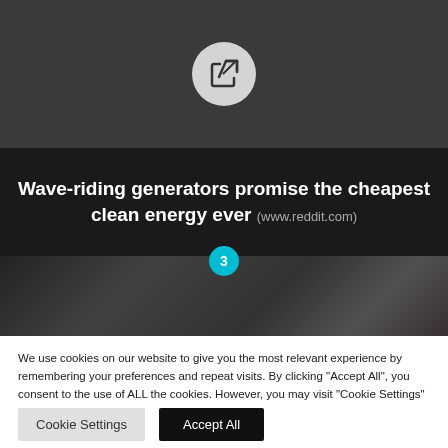[Figure (illustration): Dark gray background panel with a share/external-link icon inside a light gray circle in the center]
Wave-riding generators promise the cheapest clean energy ever (www.reddit.com)
[Figure (photo): Dark image showing mechanical/industrial equipment, appears to be wave energy generators, with a cyan number badge '3' overlaid at the top center]
We use cookies on our website to give you the most relevant experience by remembering your preferences and repeat visits. By clicking "Accept All", you consent to the use of ALL the cookies. However, you may visit "Cookie Settings" to provide a controlled consent.
Cookie Settings
Accept All